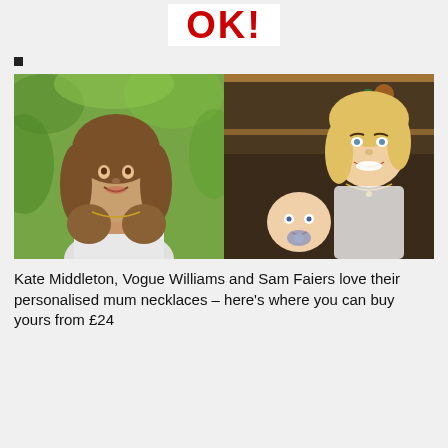OK!
■
[Figure (photo): Two side-by-side photos: left shows Kate Middleton with wavy brown hair outdoors in a white top wearing a necklace; right shows a smiling blonde woman (Sam Faiers or Vogue Williams) holding a baby wearing a necklace in an indoor setting.]
Kate Middleton, Vogue Williams and Sam Faiers love their personalised mum necklaces – here's where you can buy yours from £24